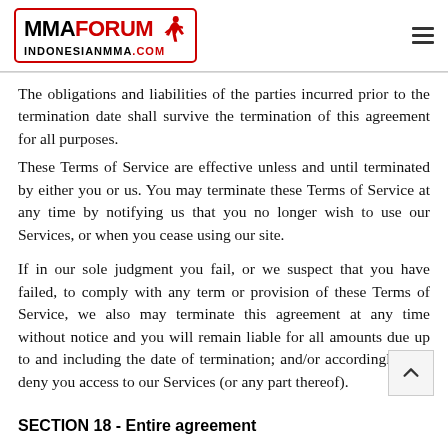MMA FORUM INDONESIANMMA.COM
The obligations and liabilities of the parties incurred prior to the termination date shall survive the termination of this agreement for all purposes.
These Terms of Service are effective unless and until terminated by either you or us. You may terminate these Terms of Service at any time by notifying us that you no longer wish to use our Services, or when you cease using our site.
If in our sole judgment you fail, or we suspect that you have failed, to comply with any term or provision of these Terms of Service, we also may terminate this agreement at any time without notice and you will remain liable for all amounts due up to and including the date of termination; and/or accordingly may deny you access to our Services (or any part thereof).
SECTION 18 - Entire agreement